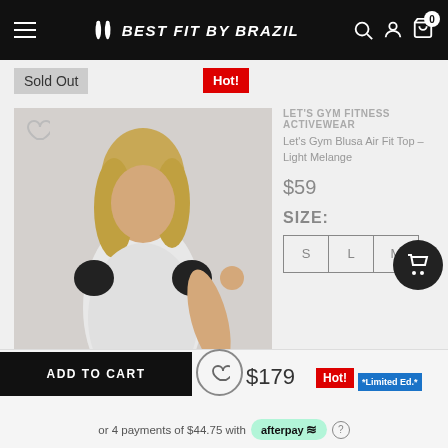BEST FIT BY BRAZIL
Sold Out
Hot!
[Figure (photo): Woman wearing white fitness top with black patterned shoulders and black shiny leggings]
LET'S GYM FITNESS ACTIVEWEAR
Let's Gym Blusa Air Fit Top – Light Melange
$59
SIZE:
S  L  M
[Figure (photo): Dark background fitness sneaker product photo]
MVP Fitness USA Hard Fit Sneaker
MVP Fitness Hard Fit 70102 Black Shimmer Workout Sneakers
$179
Hot!  *Limited Ed.*
ADD TO CART
or 4 payments of $44.75 with afterpay ⓘ